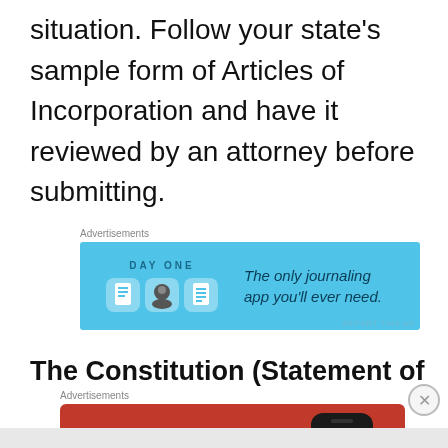situation. Follow your state's sample form of Articles of Incorporation and have it reviewed by an attorney before submitting.
[Figure (other): Advertisement banner for Day One journaling app with blue background, app icon illustrations, and text 'The only journaling app you'll ever need.']
The Constitution (Statement of
[Figure (other): Advertisement banner for DuckDuckGo app with orange-red background, text 'Search, browse, and email with more privacy. All in One Free App' and phone graphic with DuckDuckGo logo.]